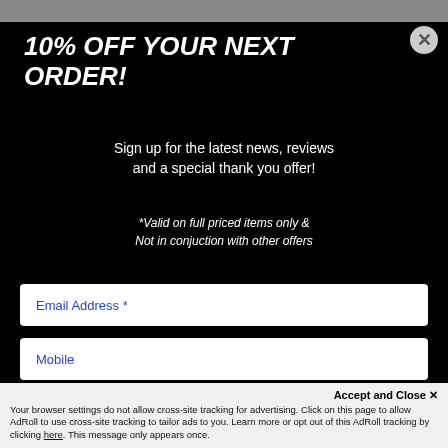10% OFF YOUR NEXT ORDER!
Sign up for the latest news, reviews and a special thank you offer!
*Valid on full priced items only & Not in conjuction with other offers
Email Address *
Mobile
SUBSCRIBE
Accept and Close ✕
Your browser settings do not allow cross-site tracking for advertising. Click on this page to allow AdRoll to use cross-site tracking to tailor ads to you. Learn more or opt out of this AdRoll tracking by clicking here. This message only appears once.